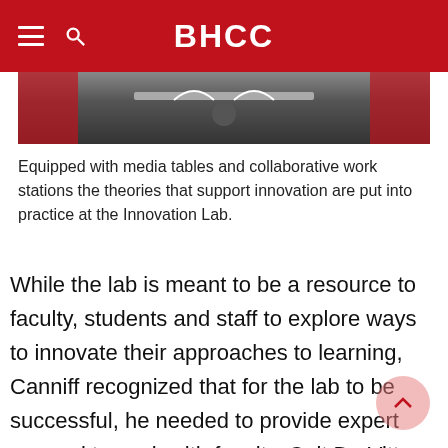BHCC
[Figure (photo): Partial view of a classroom or lab space showing red chairs and tables, viewed from above.]
Equipped with media tables and collaborative work stations the theories that support innovation are put into practice at the Innovation Lab.
While the lab is meant to be a resource to faculty, students and staff to explore ways to innovate their approaches to learning, Canniff recognized that for the lab to be successful, he needed to provide expert counsel to work with faculty. Ceit De Vitto joined BHCC in early 2018 to oversee the college's rapidly growing Open Education